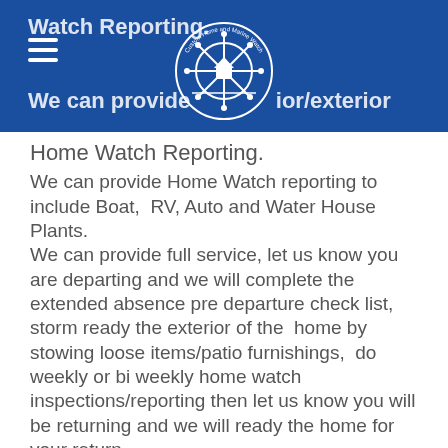Watch Reporting. We can provide interior/exterior
Home Watch Reporting.
We can provide Home Watch reporting to include Boat,  RV, Auto and Water House Plants.
We can provide full service, let us know you are departing and we will complete the extended absence pre departure check list, storm ready the exterior of the  home by stowing loose items/patio furnishings,  do weekly or bi weekly home watch inspections/reporting then let us know you will be returning and we will ready the home for your return.